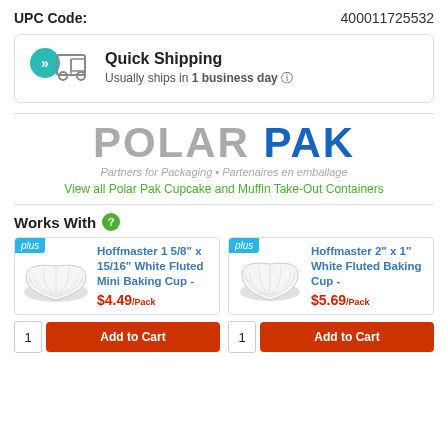UPC Code:    400011725532
[Figure (infographic): Quick Shipping badge with truck icon. Text: 'Quick Shipping - Usually ships in 1 business day']
[Figure (logo): Polar Pak logo with tagline: Partners for Packaging • Partenaires en emballage]
View all Polar Pak Cupcake and Muffin Take-Out Containers
Works With
[Figure (photo): Hoffmaster 1 5/8" x 15/16" White Fluted Mini Baking Cup product image]
Hoffmaster 1 5/8" x 15/16" White Fluted Mini Baking Cup - $4.49/Pack
[Figure (photo): Hoffmaster 2" x 1" White Fluted Baking Cup product image]
Hoffmaster 2" x 1" White Fluted Baking Cup - $5.69/Pack